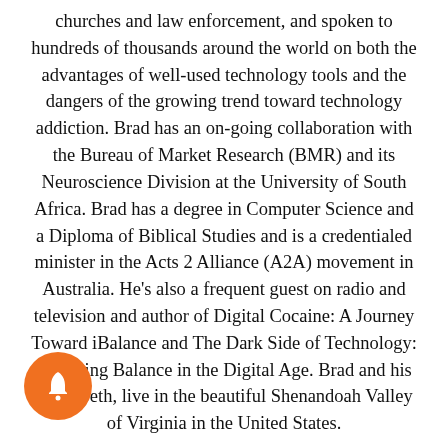churches and law enforcement, and spoken to hundreds of thousands around the world on both the advantages of well-used technology tools and the dangers of the growing trend toward technology addiction. Brad has an on-going collaboration with the Bureau of Market Research (BMR) and its Neuroscience Division at the University of South Africa. Brad has a degree in Computer Science and a Diploma of Biblical Studies and is a credentialed minister in the Acts 2 Alliance (A2A) movement in Australia. He's also a frequent guest on radio and television and author of Digital Cocaine: A Journey Toward iBalance and The Dark Side of Technology: Restoring Balance in the Digital Age. Brad and his wife, Beth, live in the beautiful Shenandoah Valley of Virginia in the United States.